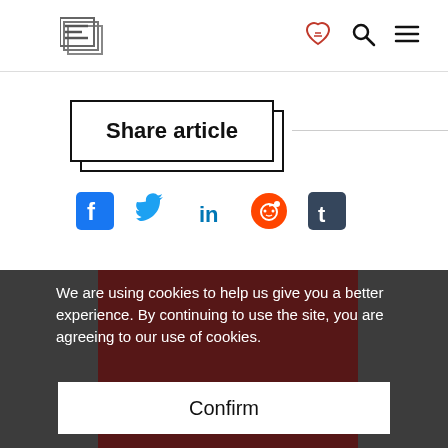[Figure (logo): Stack of pages logo icon (E-shaped stacked pages), followed by a red heart/handshake icon, a search (magnifying glass) icon, and a hamburger menu icon in the header.]
Share article
[Figure (infographic): Social media sharing icons: Facebook (blue F), Twitter (blue bird), LinkedIn (blue 'in'), Reddit (orange circle with alien), Tumblr (dark 't')]
We are using cookies to help us give you a better experience. By continuing to use the site, you are agreeing to our use of cookies.
Confirm